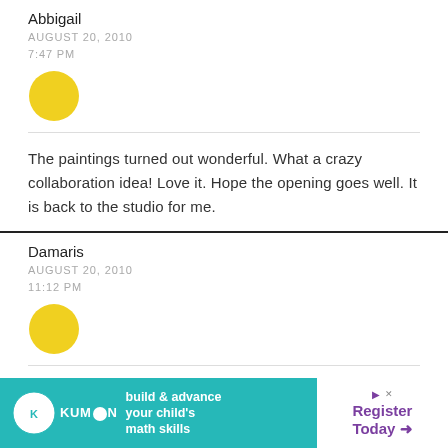Abbigail
AUGUST 20, 2010
7:47 PM
[Figure (illustration): Yellow circle avatar for Abbigail]
The paintings turned out wonderful. What a crazy collaboration idea! Love it. Hope the opening goes well. It is back to the studio for me.
Damaris
AUGUST 20, 2010
11:12 PM
[Figure (illustration): Yellow circle avatar for Damaris]
this sounds so fun. I'm going tobbe in Brazil otherwise I would...
[Figure (screenshot): Kumon advertisement banner: build & advance your child's math skills. Register Today.]